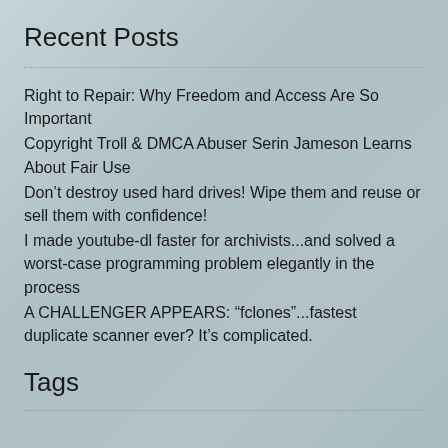Recent Posts
Right to Repair: Why Freedom and Access Are So Important
Copyright Troll & DMCA Abuser Serin Jameson Learns About Fair Use
Don't destroy used hard drives! Wipe them and reuse or sell them with confidence!
I made youtube-dl faster for archivists...and solved a worst-case programming problem elegantly in the process
A CHALLENGER APPEARS: “fclones”...fastest duplicate scanner ever? It’s complicated.
Tags